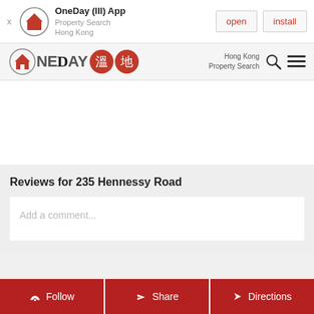[Figure (screenshot): App install banner for OneDay (III) App - Property Search Hong Kong, with open and install buttons]
[Figure (logo): OneDay logo with house icon and Chinese characters 溫地, with Hong Kong Property Search text and search/menu icons]
Reviews for 235 Hennessy Road
Add a comment...
[Figure (screenshot): Bottom action bar with Follow, Share, and Directions buttons in dark red]